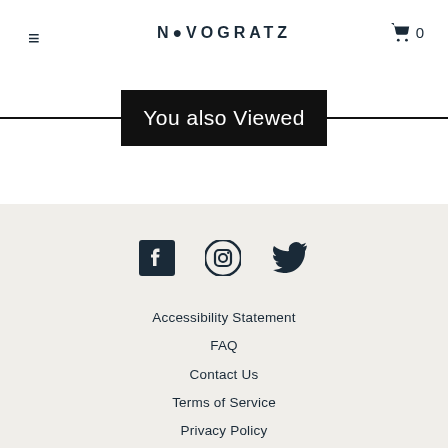≡  NOVOGRATZ  🛒 0
You also Viewed
[Figure (other): Social media icons: Facebook, Instagram, Twitter]
Accessibility Statement
FAQ
Contact Us
Terms of Service
Privacy Policy